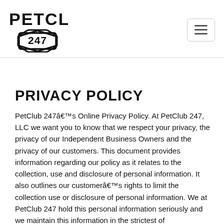[Figure (logo): PetClub 247 logo with bold block letters 'PETCLUB' above a hexagonal badge containing '247']
PRIVACY POLICY
PetClub 247âs Online Privacy Policy. At PetClub 247, LLC we want you to know that we respect your privacy, the privacy of our Independent Business Owners and the privacy of our customers. This document provides information regarding our policy as it relates to the collection, use and disclosure of personal information. It also outlines our customerâs rights to limit the collection use or disclosure of personal information. We at PetClub 247 hold this personal information seriously and we maintain this information in the strictest of